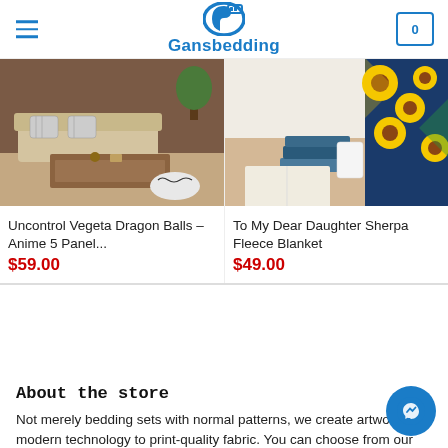Gansbedding
[Figure (photo): Living room with beige sofa, wooden coffee table, zebra-stripe cushions and plant]
Uncontrol Vegeta Dragon Balls – Anime 5 Panel...
$59.00
[Figure (photo): Sunflower sherpa blanket draped over books on a wooden floor]
To My Dear Daughter Sherpa Fleece Blanket
$49.00
About the store
Not merely bedding sets with normal patterns, we create artwork with modern technology to print-quality fabric. You can choose from our collection different themes about nature, movies, art ... or simply the most popular types of animals.